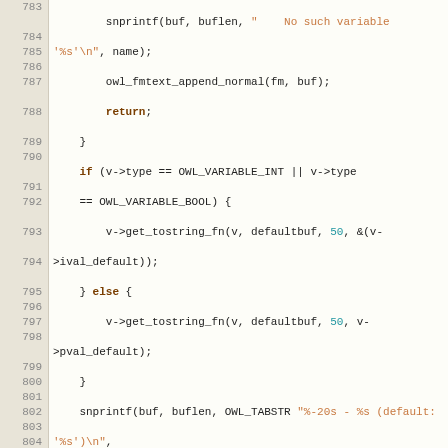[Figure (screenshot): Source code listing in a code editor showing C code for owl variable functions, lines 783-808, with syntax highlighting: keywords in dark orange/bold, function names in red, strings in orange, numbers in teal, on a light beige background with line number gutter.]